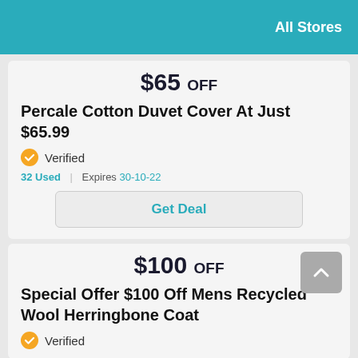All Stores
$65 OFF
Percale Cotton Duvet Cover At Just $65.99
Verified
32 Used | Expires 30-10-22
Get Deal
$100 OFF
Special Offer $100 Off Mens Recycled Wool Herringbone Coat
Verified